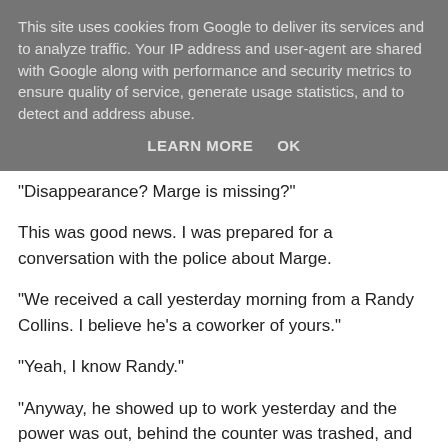This site uses cookies from Google to deliver its services and to analyze traffic. Your IP address and user-agent are shared with Google along with performance and security metrics to ensure quality of service, generate usage statistics, and to detect and address abuse.
LEARN MORE    OK
"Disappearance? Marge is missing?"
This was good news. I was prepared for a conversation with the police about Marge.
"We received a call yesterday morning from a Randy Collins. I believe he's a coworker of yours."
"Yeah, I know Randy."
"Anyway, he showed up to work yesterday and the power was out, behind the counter was trashed, and Marge was missing."